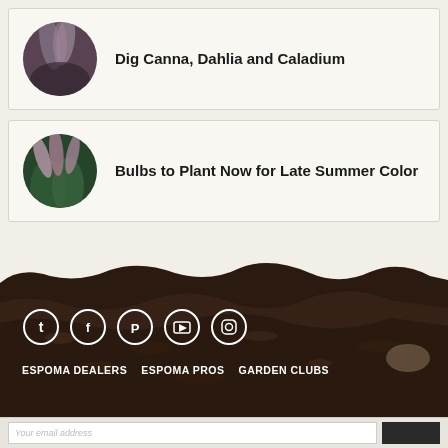Dig Canna, Dahlia and Caladium
Bulbs to Plant Now for Late Summer Color
[Figure (photo): Soil/dirt photography forming a decorative footer background with social media icons and navigation links for Espoma gardening brand]
ESPOMA DEALERS   ESPOMA PROS   GARDEN CLUBS